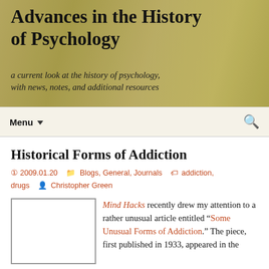Advances in the History of Psychology
a current look at the history of psychology, with news, notes, and additional resources
Menu
Historical Forms of Addiction
2009.01.20  Blogs, General, Journals  addiction, drugs  Christopher Green
Mind Hacks recently drew my attention to a rather unusual article entitled “Some Unusual Forms of Addiction.” The piece, first published in 1933, appeared in the